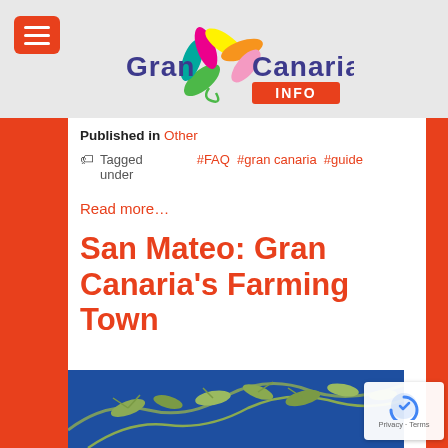[Figure (logo): Gran Canaria INFO website logo with colorful flower/leaf icon and text]
Published in Other
Tagged under #FAQ #gran canaria #guide
Read more…
San Mateo: Gran Canaria's Farming Town
[Figure (photo): Photo of olive tree branches against a blue sky]